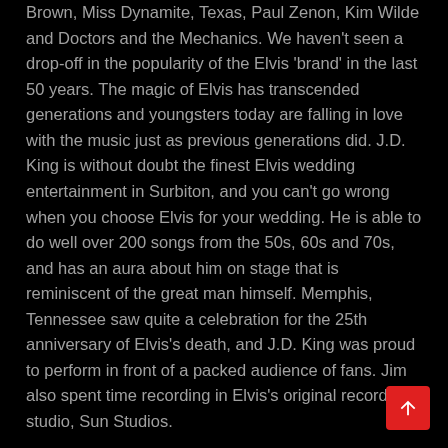Brown, Miss Dynamite, Texas, Paul Zenon, Kim Wilde and Doctors and the Mechanics. We haven't seen a drop-off in the popularity of the Elvis 'brand' in the last 50 years. The magic of Elvis has transcended generations and youngsters today are falling in love with the music just as previous generations did. J.D. King is without doubt the finest Elvis wedding entertainment in Surbiton, and you can't go wrong when you choose Elvis for your wedding. He is able to do well over 200 songs from the 50s, 60s and 70s, and has an aura about him on stage that is reminiscent of the great man himself. Memphis, Tennessee saw quite a celebration for the 25th anniversary of Elvis's death, and J.D. King was proud to perform in front of a packed audience of fans. Jim also spent time recording in Elvis's original recording studio, Sun Studios.